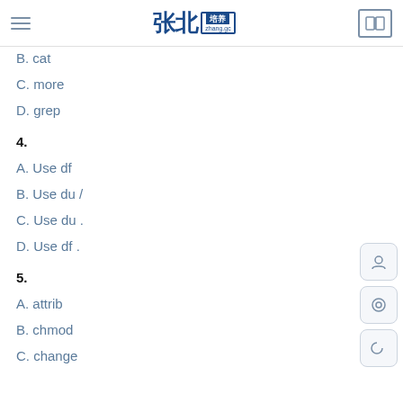张北 zhang.gc
B. cat
C. more
D. grep
4.
A. Use df
B. Use du /
C. Use du .
D. Use df .
5.
A. attrib
B. chmod
C. change